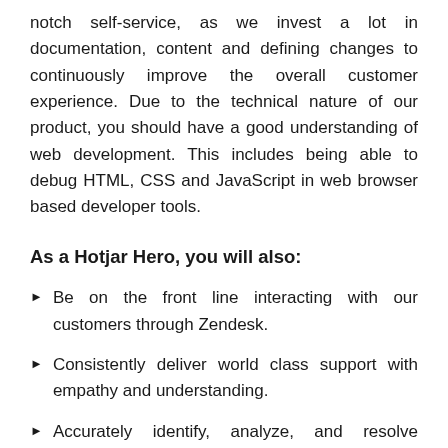notch self-service, as we invest a lot in documentation, content and defining changes to continuously improve the overall customer experience. Due to the technical nature of our product, you should have a good understanding of web development. This includes being able to debug HTML, CSS and JavaScript in web browser based developer tools.
As a Hotjar Hero, you will also:
Be on the front line interacting with our customers through Zendesk.
Consistently deliver world class support with empathy and understanding.
Accurately identify, analyze, and resolve technical